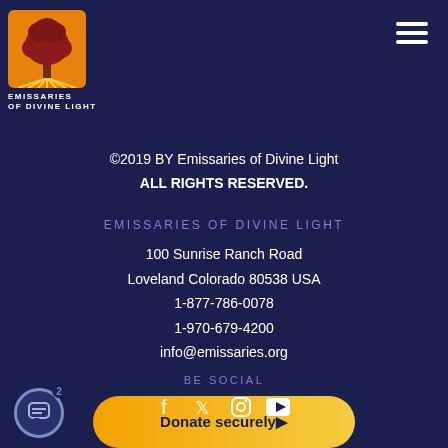[Figure (logo): Emissaries of Divine Light logo: orange square with tree, text below reading EMISSARIES OF DIVINE LIGHT]
©2019 BY Emissaries of Divine Light
ALL RIGHTS RESERVED.
EMISSARIES OF DIVINE LIGHT
100 Sunrise Ranch Road
Loveland Colorado 80538 USA
1-877-786-0078
1-970-679-4200
info@emissaries.org
Donate securely▶
BE SOCIAL
[Figure (illustration): Social media icons: Facebook, Twitter, Instagram, YouTube]